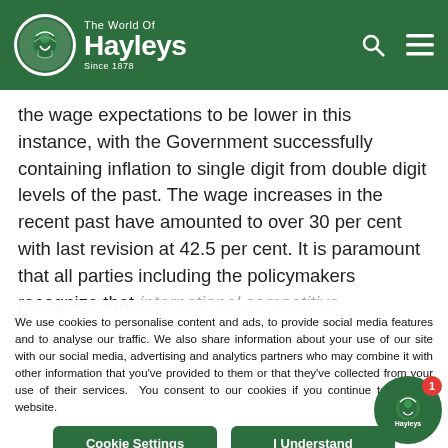The World Of Hayleys Since 1878
the wage expectations to be lower in this instance, with the Government successfully containing inflation to single digit from double digit levels of the past. The wage increases in the recent past have amounted to over 30 per cent with last revision at 42.5 per cent. It is paramount that all parties including the policymakers recognize that international competitiveness is a prerequisite for the
We use cookies to personalise content and ads, to provide social media features and to analyse our traffic. We also share information about your use of our site with our social media, advertising and analytics partners who may combine it with other information that you've provided to them or that they've collected from your use of their services. You consent to our cookies if you continue to use our website.
Cookie Settings
I Understand